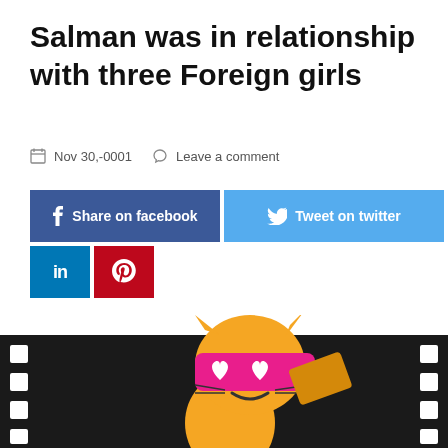Salman was in relationship with three Foreign girls
Nov 30,-0001   Leave a comment
[Figure (illustration): Yellow cartoon cat wearing pink heart-shaped sunglasses, holding a movie clapper, on a black film strip background]